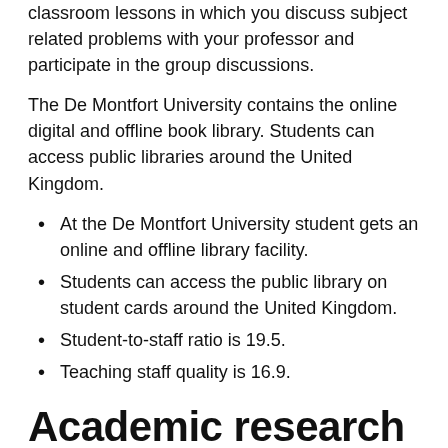classroom lessons in which you discuss subject related problems with your professor and participate in the group discussions.
The De Montfort University contains the online digital and offline book library. Students can access public libraries around the United Kingdom.
At the De Montfort University student gets an online and offline library facility.
Students can access the public library on student cards around the United Kingdom.
Student-to-staff ratio is 19.5.
Teaching staff quality is 16.9.
Academic research record
A number of local and international students study in